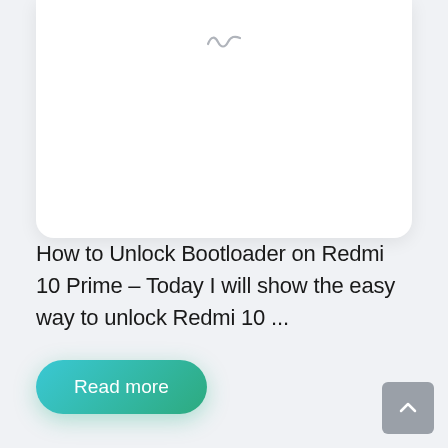[Figure (screenshot): A white card with rounded bottom corners on a light gray background, showing a loading tilde/infinity-like icon near the top center, indicating an image placeholder that is still loading.]
How to Unlock Bootloader on Redmi 10 Prime – Today I will show the easy way to unlock Redmi 10 ...
Read more